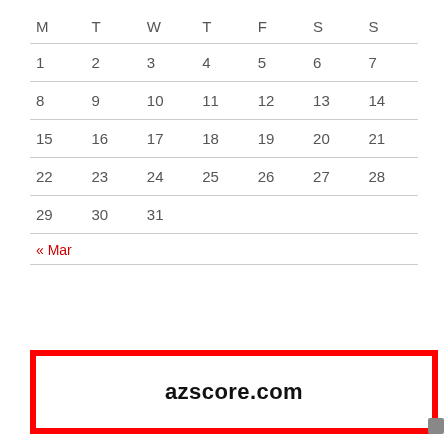| M | T | W | T | F | S | S |
| --- | --- | --- | --- | --- | --- | --- |
| 1 | 2 | 3 | 4 | 5 | 6 | 7 |
| 8 | 9 | 10 | 11 | 12 | 13 | 14 |
| 15 | 16 | 17 | 18 | 19 | 20 | 21 |
| 22 | 23 | 24 | 25 | 26 | 27 | 28 |
| 29 | 30 | 31 |  |  |  |  |
« Mar
[Figure (other): Red-bordered white box containing bold text 'azscore.com']